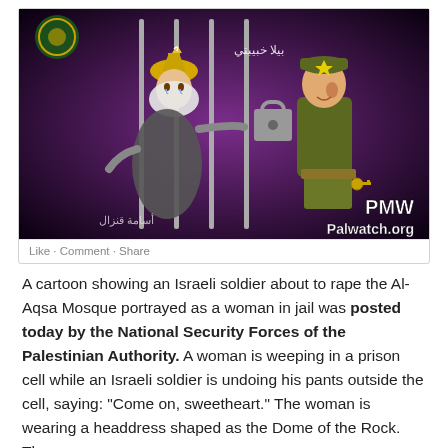[Figure (illustration): A cartoon (posted by Palestinian Authority National Security Forces on social media) showing an Israeli soldier about to rape the Al-Aqsa Mosque portrayed as a woman behind prison bars. The woman is weeping and wearing a headdress shaped like the Dome of the Rock. The soldier wears a Star of David on his hat and is undoing his pants. Arabic text and the PMW / Palwatch.org watermark appear on the image. Below the cartoon are Facebook-style social action links: Like · Comment · Share.]
A cartoon showing an Israeli soldier about to rape the Al-Aqsa Mosque portrayed as a woman in jail was posted today by the National Security Forces of the Palestinian Authority. A woman is weeping in a prison cell while an Israeli soldier is undoing his pants outside the cell, saying: "Come on, sweetheart." The woman is wearing a headdress shaped as the Dome of the Rock. The